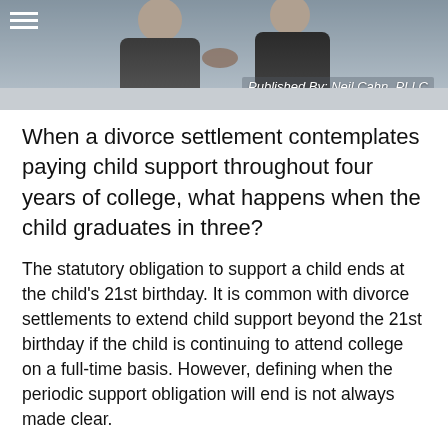[Figure (photo): Two people in business attire shaking hands or embracing in the upper portion of the image. Gray bar with 'Published By: Neil Cahn, PLLC' text overlay.]
When a divorce settlement contemplates paying child support throughout four years of college, what happens when the child graduates in three?
The statutory obligation to support a child ends at the child's 21st birthday. It is common with divorce settlements to extend child support beyond the 21st birthday if the child is continuing to attend college on a full-time basis. However, defining when the periodic support obligation will end is not always made clear.
Take the March 30, 2016 decision of the Appellate Division, Second Department, in Fleming v. Fleming. The parties' divorce stipulation of settlement required the father to pay periodic child support